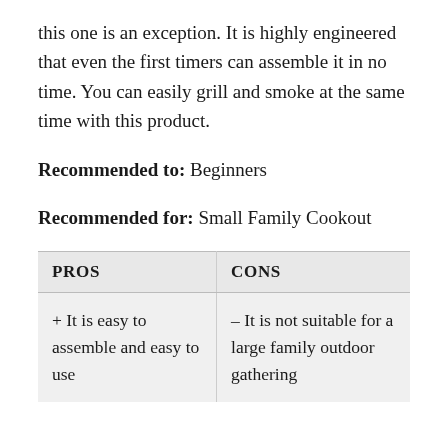this one is an exception. It is highly engineered that even the first timers can assemble it in no time. You can easily grill and smoke at the same time with this product.
Recommended to: Beginners
Recommended for: Small Family Cookout
| PROS | CONS |
| --- | --- |
| + It is easy to assemble and easy to use | – It is not suitable for a large family outdoor gathering |